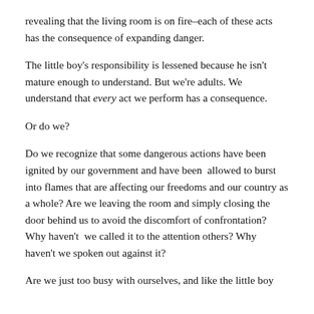revealing that the living room is on fire–each of these acts has the consequence of expanding danger.
The little boy's responsibility is lessened because he isn't mature enough to understand. But we're adults. We understand that every act we perform has a consequence.
Or do we?
Do we recognize that some dangerous actions have been ignited by our government and have been  allowed to burst into flames that are affecting our freedoms and our country as a whole? Are we leaving the room and simply closing the door behind us to avoid the discomfort of confrontation? Why haven't  we called it to the attention others? Why haven't we spoken out against it?
Are we just too busy with ourselves, and like the little boy